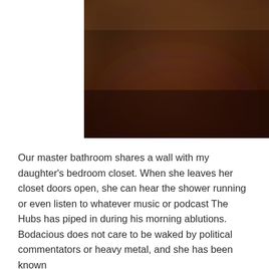[Figure (photo): Blurred warm-toned abstract image with brown, orange, and dark reddish hues, resembling a blurred interior or background.]
Our master bathroom shares a wall with my daughter's bedroom closet. When she leaves her closet doors open, she can hear the shower running or even listen to whatever music or podcast The Hubs has piped in during his morning ablutions. Bodacious does not care to be waked by political commentators or heavy metal, and she has been known